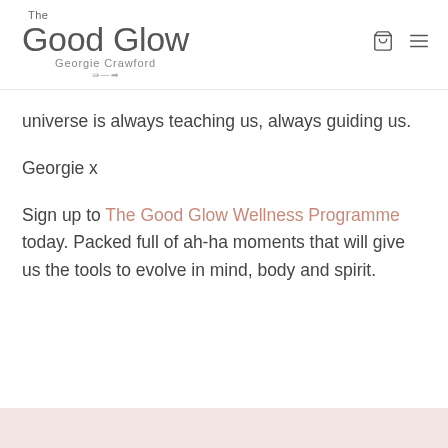The Good Glow — Georgie Crawford
universe is always teaching us, always guiding us.
Georgie x
Sign up to The Good Glow Wellness Programme today. Packed full of ah-ha moments that will give us the tools to evolve in mind, body and spirit.